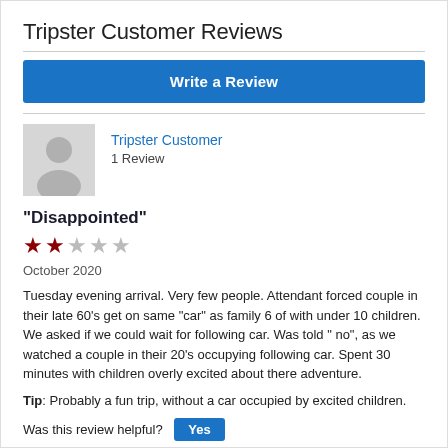Tripster Customer Reviews
[Figure (other): Blue 'Write a Review' button]
[Figure (other): User avatar placeholder icon (grey silhouette)]
Tripster Customer
1 Review
"Disappointed"
[Figure (other): 2 out of 5 stars rating]
October 2020
Tuesday evening arrival. Very few people. Attendant forced couple in their late 60's get on same “car” as family 6 of with under 10 children. We asked if we could wait for following car. Was told “ no”, as we watched a couple in their 20’s occupying following car. Spent 30 minutes with children overly excited about there adventure.
Tip: Probably a fun trip, without a car occupied by excited children.
Was this review helpful? Yes